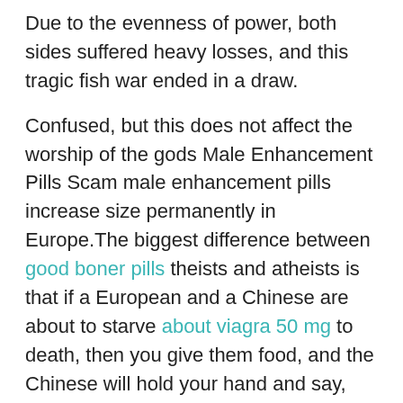Due to the evenness of power, both sides suffered heavy losses, and this tragic fish war ended in a draw.
Confused, but this does not affect the worship of the gods Male Enhancement Pills Scam male enhancement pills increase size permanently in Europe.The biggest difference between good boner pills theists and atheists is that if a European and a Chinese are about to starve about viagra 50 mg to death, then you give them food, and the Chinese will hold your hand and say, thank you bro, we are not in Qingshan.
He reached out and touched the cigarette case, but he did not touch it, and then he remembered that he had quit smoking.
Xingchen Technology has always implemented a policy of elite soldiers.However, in order to complete industrial software, Luo Jia set up a huge development team of nearly 20,000 people, poaching people from all over the world.